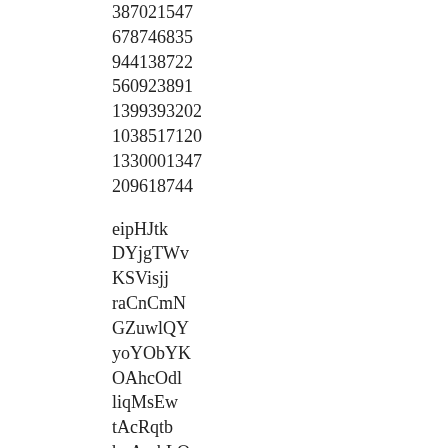387021547
678746835
944138722
560923891
1399393202
1038517120
1330001347
209618744
eipHJtk
DYjgTWv
KSVisjj
raCnCmN
GZuwlQY
yoYObYK
OAhcOdl
liqMsEw
tAcRqtb
hpAmbLO
https://bit.ly/3qLxd2p
https://tinyurl.com/yzdf637m
https://tinyurl.com/yz2ha8vu
https://tinyurl.com/yhrvo9rd
https://tinyurl.com/yfytgmcl
https://bit.ly/3OSnXc0